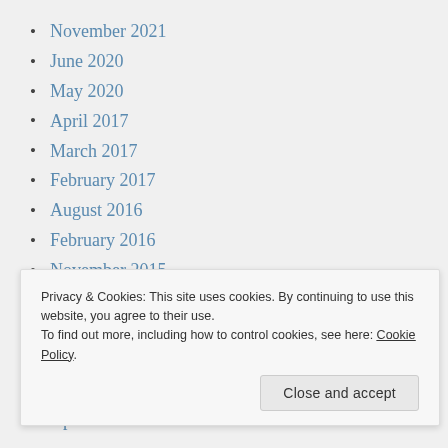November 2021
June 2020
May 2020
April 2017
March 2017
February 2017
August 2016
February 2016
November 2015
August 2015
July 2015
June 2015
May 2015
April 2015
Privacy & Cookies: This site uses cookies. By continuing to use this website, you agree to their use. To find out more, including how to control cookies, see here: Cookie Policy
Close and accept